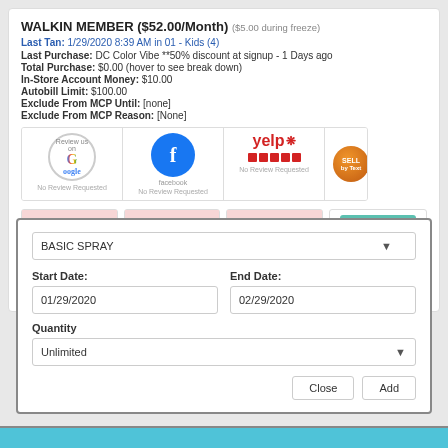WALKIN MEMBER ($52.00/Month) ($5.00 during freeze)
Last Tan: 1/29/2020 8:39 AM in 01 - Kids (4)
Last Purchase: DC Color Vibe **50% discount at signup - 1 Days ago
Total Purchase: $0.00 (hover to see break down)
In-Store Account Money: $10.00
Autobill Limit: $100.00
Exclude From MCP Until: [none]
Exclude From MCP Reason: [None]
[Figure (screenshot): Review request icons: Google, Facebook, Yelp, SELL by Text, SELL by Email — each with 'No Review Requested' label]
| Use/Lose Credits | Monthly Credits | Purchased Credits |
| --- | --- | --- |
| 0 | 0 | 0 |
ADD PACKAGE - Click on the button above to add a package manually
BASIC SPRAY
Start Date: 01/29/2020
End Date: 02/29/2020
Quantity
Unlimited
Close | Add